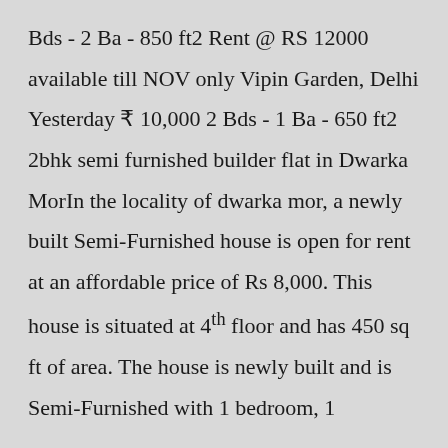Bds - 2 Ba - 850 ft2 Rent @ RS 12000 available till NOV only Vipin Garden, Delhi Yesterday ₹ 10,000 2 Bds - 1 Ba - 650 ft2 2bhk semi furnished builder flat in Dwarka MorIn the locality of dwarka mor, a newly built Semi-Furnished house is open for rent at an affordable price of Rs 8,000. This house is situated at 4th floor and has 450 sq ft of area. The house is newly built and is Semi-Furnished with 1 bedroom, 1